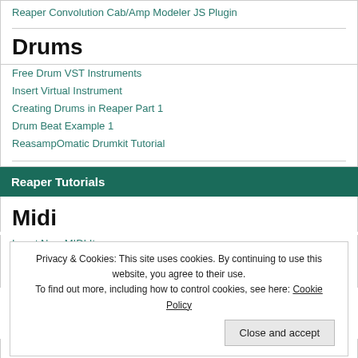Reaper Convolution Cab/Amp Modeler JS Plugin
Drums
Free Drum VST Instruments
Insert Virtual Instrument
Creating Drums in Reaper Part 1
Drum Beat Example 1
ReasampOmatic Drumkit Tutorial
Reaper Tutorials
Midi
Insert New MIDI Item
Piano Roll Articles
Setting Up Midi Input Recording and Monitor
Privacy & Cookies: This site uses cookies. By continuing to use this website, you agree to their use.
To find out more, including how to control cookies, see here: Cookie Policy
Close and accept
Sequence Megababy Part 2